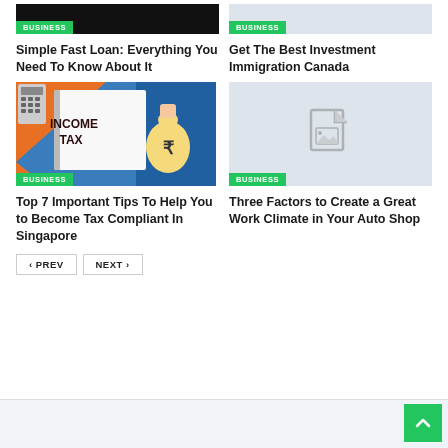[Figure (photo): Dark/black banner image with BUSINESS badge overlay]
Simple Fast Loan: Everything You Need To Know About It
[Figure (photo): Light gray placeholder image with BUSINESS badge overlay]
Get The Best Investment Immigration Canada
[Figure (photo): Income Tax notebook with money bag and rupee sign, colorful background, BUSINESS badge]
Top 7 Important Tips To Help You to Become Tax Compliant In Singapore
[Figure (photo): Light gray placeholder with document/image icon, BUSINESS badge]
Three Factors to Create a Great Work Climate in Your Auto Shop
< PREV
NEXT >